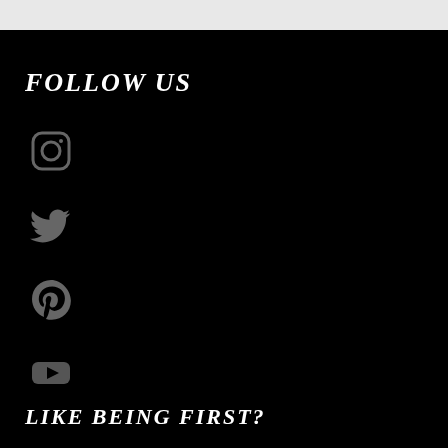FOLLOW US
[Figure (illustration): Instagram icon (rounded square camera outline) in gray on black background]
[Figure (illustration): Twitter bird icon in gray on black background]
[Figure (illustration): Pinterest P icon in gray on black background]
[Figure (illustration): YouTube play button icon in gray on black background]
LIKE BEING FIRST?